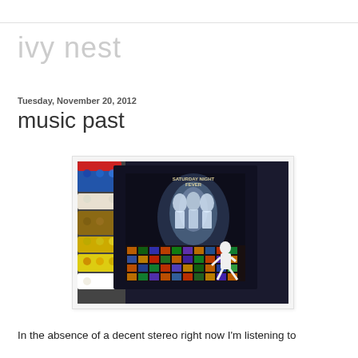ivy nest
Tuesday, November 20, 2012
music past
[Figure (photo): Photo of a Saturday Night Fever vinyl record album cover lying on a colorful crocheted blanket, with a disco dancer figurine visible]
In the absence of a decent stereo right now I'm listening to